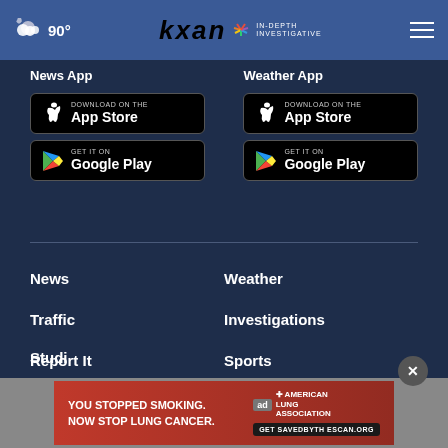☁ 90° | kxan IN-DEPTH INVESTIGATIVE
News App
[Figure (screenshot): Download on the App Store button (black)]
[Figure (screenshot): GET IT ON Google Play button (black)]
Weather App
[Figure (screenshot): Download on the App Store button (black)]
[Figure (screenshot): GET IT ON Google Play button (black)]
News
Weather
Traffic
Investigations
Report It
Sports
Studi…
[Figure (screenshot): American Lung Association ad: YOU STOPPED SMOKING. NOW STOP LUNG CANCER. Get SAVEDBYTHESCAN.ORG]